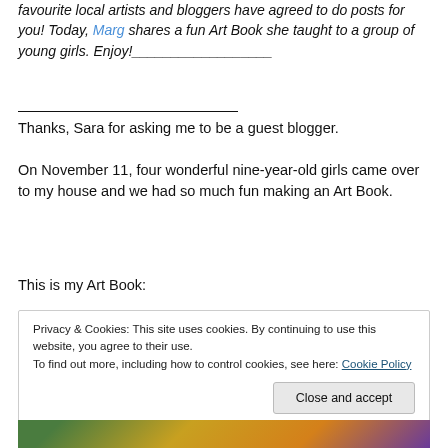favourite local artists and bloggers have agreed to do posts for you! Today, Marg shares a fun Art Book she taught to a group of young girls. Enjoy!__________________
____________________
Thanks, Sara for asking me to be a guest blogger.
On November 11, four wonderful nine-year-old girls came over to my house and we had so much fun making an Art Book.
This is my Art Book:
Privacy & Cookies: This site uses cookies. By continuing to use this website, you agree to their use.
To find out more, including how to control cookies, see here: Cookie Policy
Close and accept
[Figure (photo): Colorful photo strip at the bottom of the page showing art books or artwork with green, yellow, orange and purple colors]